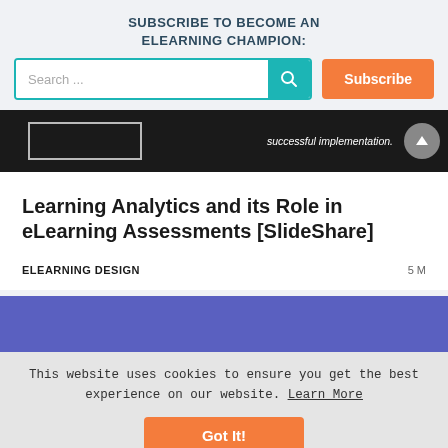SUBSCRIBE TO BECOME AN ELEARNING CHAMPION:
[Figure (screenshot): Search bar with teal search button and orange Subscribe button]
[Figure (screenshot): Dark image strip showing a white outlined box and text 'successful implementation.' with a scroll-up button]
Learning Analytics and its Role in eLearning Assessments [SlideShare]
ELEARNING DESIGN    5 M
[Figure (screenshot): Partial blue/purple card peeking at bottom]
This website uses cookies to ensure you get the best experience on our website. Learn More
Got It!